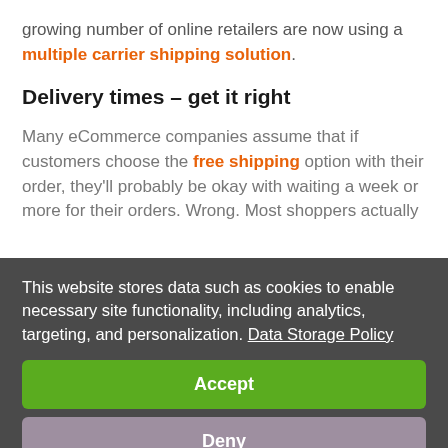growing number of online retailers are now using a multiple carrier shipping solution.
Delivery times – get it right
Many eCommerce companies assume that if customers choose the free shipping option with their order, they'll probably be okay with waiting a week or more for their orders. Wrong. Most shoppers actually
This website stores data such as cookies to enable necessary site functionality, including analytics, targeting, and personalization. Data Storage Policy
Accept
Deny